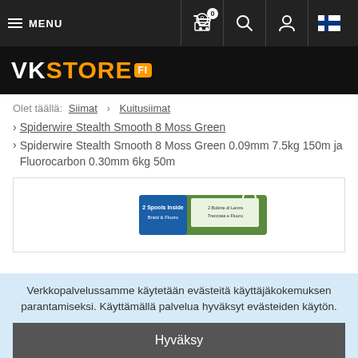MENU | Cart (0) | Search | Account | FI
[Figure (logo): VKSTORE.FI logo on black background]
Olet täällä: Siimat › Kuitusiimat
› Spiderwire Stealth Smooth 8 Moss Green
› Spiderwire Stealth Smooth 8 Moss Green 0.09mm 7.5kg 150m ja Fluorocarbon 0.30mm 6kg 50m
[Figure (photo): Product image of Spiderwire fishing line package showing 2 Spools Inside Braid & Fluoro]
Verkkopalvelussamme käytetään evästeitä käyttäjäkokemuksen parantamiseksi. Käyttämällä palvelua hyväksyt evästeiden käytön.
Hyväksy